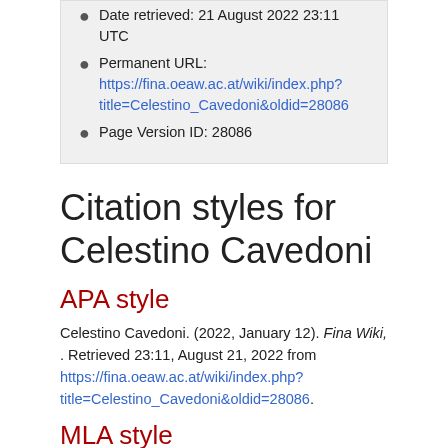Date retrieved: 21 August 2022 23:11 UTC
Permanent URL: https://fina.oeaw.ac.at/wiki/index.php?title=Celestino_Cavedoni&oldid=28086
Page Version ID: 28086
Citation styles for Celestino Cavedoni
APA style
Celestino Cavedoni. (2022, January 12). Fina Wiki, . Retrieved 23:11, August 21, 2022 from https://fina.oeaw.ac.at/wiki/index.php?title=Celestino_Cavedoni&oldid=28086.
MLA style
"Celestino Cavedoni." Fina Wiki, . 12 Jan